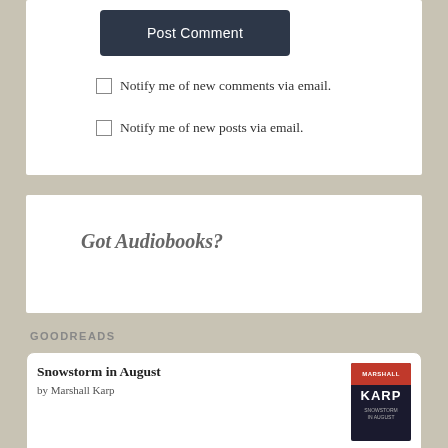Post Comment
Notify me of new comments via email.
Notify me of new posts via email.
Got Audiobooks?
GOODREADS
Snowstorm in August
by Marshall Karp
Treating Trauma-Related Dissociation: A Practical, Integrative Approach
by Kathy Steele